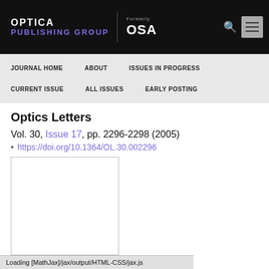OPTICA PUBLISHING GROUP | Formerly OSA
JOURNAL HOME  ABOUT  ISSUES IN PROGRESS  CURRENT ISSUE  ALL ISSUES  EARLY POSTING
Optics Letters  Vol. 30, Issue 17, pp. 2296-2298 (2005)
https://doi.org/10.1364/OL.30.002296
[Figure (other): Article thumbnail/cover image placeholder, empty white box with border]
... rate optical
...in the mid
Loading [MathJax]/jax/output/HTML-CSS/jax.js